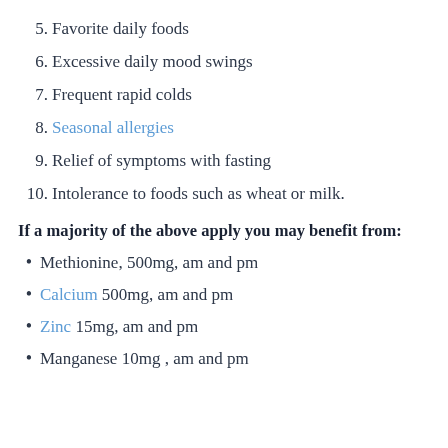5. Favorite daily foods
6. Excessive daily mood swings
7. Frequent rapid colds
8. Seasonal allergies
9. Relief of symptoms with fasting
10. Intolerance to foods such as wheat or milk.
If a majority of the above apply you may benefit from:
Methionine, 500mg, am and pm
Calcium 500mg, am and pm
Zinc 15mg, am and pm
Manganese 10mg , am and pm